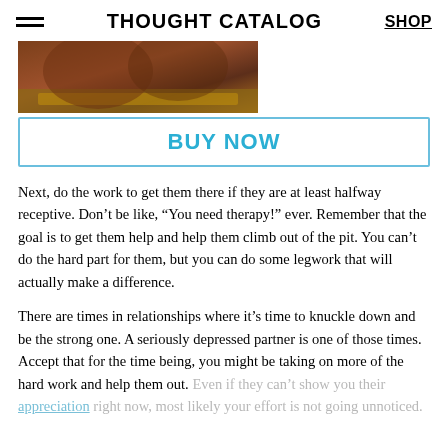THOUGHT CATALOG | SHOP
[Figure (photo): Partial image of a person wearing a championship belt, cropped at top]
BUY NOW
Next, do the work to get them there if they are at least halfway receptive. Don’t be like, “You need therapy!” ever. Remember that the goal is to get them help and help them climb out of the pit. You can’t do the hard part for them, but you can do some legwork that will actually make a difference.
There are times in relationships where it’s time to knuckle down and be the strong one. A seriously depressed partner is one of those times. Accept that for the time being, you might be taking on more of the hard work and help them out. Even if they can’t show you their appreciation right now, most likely your effort is not going unnoticed.